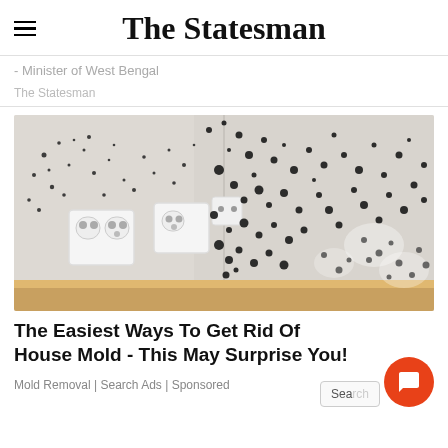The Statesman
- Minister of West Bengal
The Statesman
[Figure (photo): Photo of black mold growing heavily on white interior walls and corner, with European-style electrical sockets visible on the left wall]
The Easiest Ways To Get Rid Of House Mold - This May Surprise You!
Mold Removal | Search Ads | Sponsored